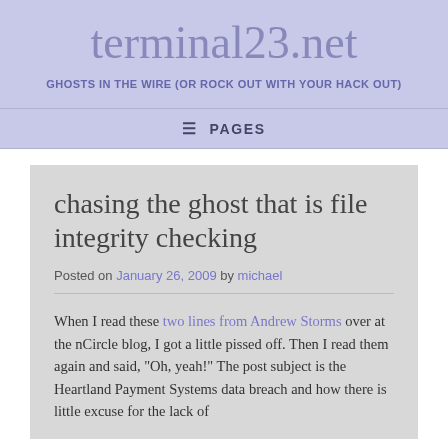terminal23.net
GHOSTS IN THE WIRE (OR ROCK OUT WITH YOUR HACK OUT)
☰ PAGES
chasing the ghost that is file integrity checking
Posted on January 26, 2009 by michael
When I read these two lines from Andrew Storms over at the nCircle blog, I got a little pissed off. Then I read them again and said, "Oh, yeah!" The post subject is the Heartland Payment Systems data breach and how there is little excuse for the lack of